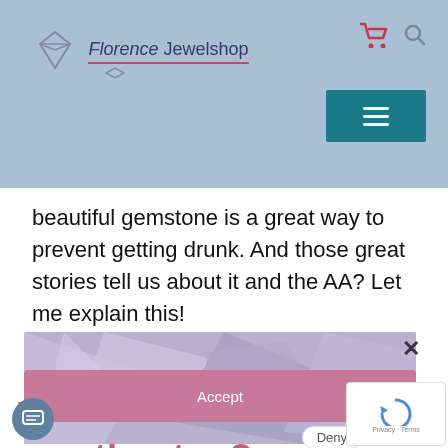[Figure (logo): Florence Jewelshop logo with diamond icon and pink underline]
beautiful gemstone is a great way to prevent getting drunk. And those great stories tell us about it and the AA? Let me explain this!
[Figure (screenshot): Cookie consent banner overlay with amethyst crystal background image reading 'We prefer Jewelry to Cookies' with close X button, subtext 'but to give you the best experience on our website, we need to use them.', Accept button, and Deny button]
What is in the name amethystos?